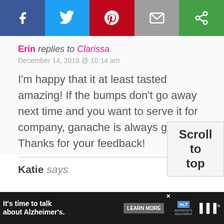[Figure (screenshot): Social share bar with Facebook (blue), Twitter (light blue), Pinterest (red), email (grey), and a green share icon button]
Erin replies to Clarissa
December 14, 2018 @ 10:14 am

I'm happy that it at least tasted amazing! If the bumps don't go away next time and you want to serve it for company, ganache is always good. ;) Thanks for your feedback!
Katie says
[Figure (screenshot): Advertisement banner: It's time to talk about Alzheimer's. LEARN MORE. Alzheimer's Association logo.]